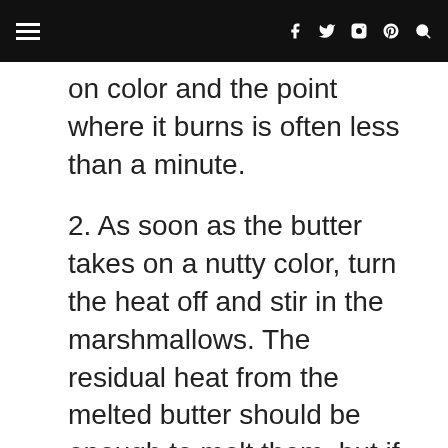Navigation bar with hamburger menu and social icons (f, twitter, instagram, pinterest, search)
on color and the point where it burns is often less than a minute.
2. As soon as the butter takes on a nutty color, turn the heat off and stir in the marshmallows. The residual heat from the melted butter should be enough to melt them, but if it is not, turn it back on low until the marshmallows are smooth. Add food coloring to turn the marshmallow magic orange (gel food coloring gives a more vibrant color) and stir well.
3. Remove the pot from the stove and stir in the salt and cereal together.
4. Quickly spread onto a piece of